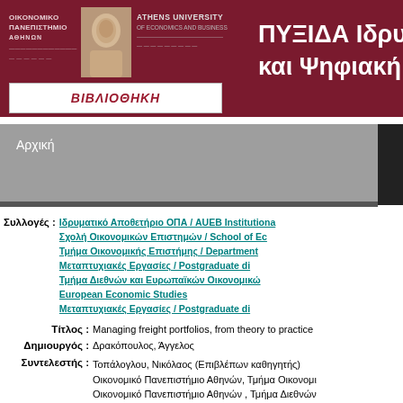ΟΙΚΟΝΟΜΙΚΟ ΠΑΝΕΠΙΣΤΗΜΙΟ ΑΘΗΝΩΝ - ATHENS UNIVERSITY - ΠΥΞΙΔΑ Ιδρυματικό Αποθετήριο και Ψηφιακή Βιβλιοθήκη
Αρχική
Συλλογές : Ιδρυματικό Αποθετήριο ΟΠΑ / AUEB Institutional... Σχολή Οικονομικών Επιστημών / School of Ec... Τμήμα Οικονομικής Επιστήμης / Department... Μεταπτυχιακές Εργασίες / Postgraduate di... Τμήμα Διεθνών και Ευρωπαϊκών Οικονομικώ... European Economic Studies Μεταπτυχιακές Εργασίες / Postgraduate di...
Τίτλος : Managing freight portfolios, from theory to practice
Δημιουργός : Δρακόπουλος, Άγγελος
Συντελεστής : Τοπάλογλου, Νικόλαος (Επιβλέπων καθηγητής) Οικονομικό Πανεπιστήμιο Αθηνών, Τμήμα Οικονομι... Οικονομικό Πανεπιστήμιο Αθηνών , Τμήμα Διεθνών...